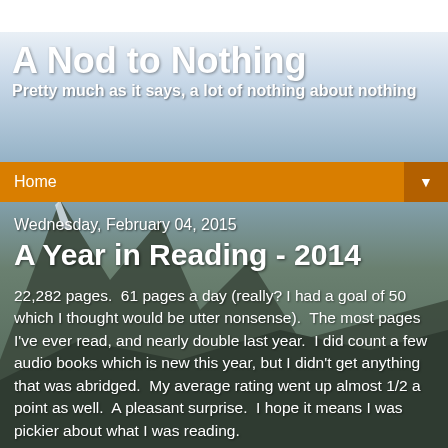A Nod to Nothing
Pretty much as it says, a lot of nothing about nothing
Home ▼
Wednesday, February 04, 2015
A Year in Reading - 2014
22,282 pages.  61 pages a day (really? I had a goal of 50 which I thought would be utter nonsense).  The most pages I've ever read, and nearly double last year.  I did count a few audio books which is new this year, but I didn't get anything that was abridged.  My average rating went up almost 1/2 a point as well.  A pleasant surprise.  I hope it means I was pickier about what I was reading.
So, would I maintain my rankings in retrospect?